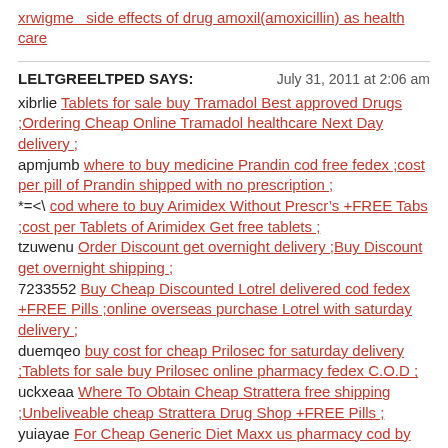xrwigme   side effects of drug amoxil(amoxicillin) as health care
LELTGREELTPED SAYS:    July 31, 2011 at 2:06 am

xibrlie Tablets for sale buy Tramadol Best approved Drugs ;Ordering Cheap Online Tramadol healthcare Next Day delivery ;
apmjumb where to buy medicine Prandin cod free fedex ;cost per pill of Prandin shipped with no prescription ;
*=<\ cod where to buy Arimidex Without Prescr’s +FREE Tabs ;cost per Tablets of Arimidex Get free tablets ;
tzuwenu Order Discount get overnight delivery ;Buy Discount get overnight shipping ;
7233552 Buy Cheap Discounted Lotrel delivered cod fedex +FREE Pills ;online overseas purchase Lotrel with saturday delivery ;
duemqeo buy cost for cheap Prilosec for saturday delivery ;Tablets for sale buy Prilosec online pharmacy fedex C.O.D ;
uckxeaa Where To Obtain Cheap Strattera free shipping ;Unbeliveable cheap Strattera Drug Shop +FREE Pills ;
yuiayae For Cheap Generic Diet Maxx us pharmacy cod by visa card ;For Sale Diet Maxx No Prior Prescription ;